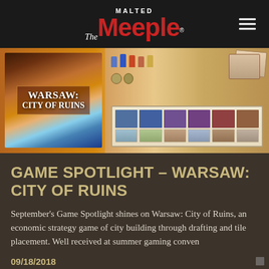The Malted Meeple
[Figure (photo): Hero image showing Warsaw: City of Ruins board game box on the left and game components (board, meeples, cards) on the right against a warm golden-orange background.]
GAME SPOTLIGHT – WARSAW: CITY OF RUINS
September's Game Spotlight shines on Warsaw: City of Ruins, an economic strategy game of city building through drafting and tile placement. Well received at summer gaming conven
09/18/2018